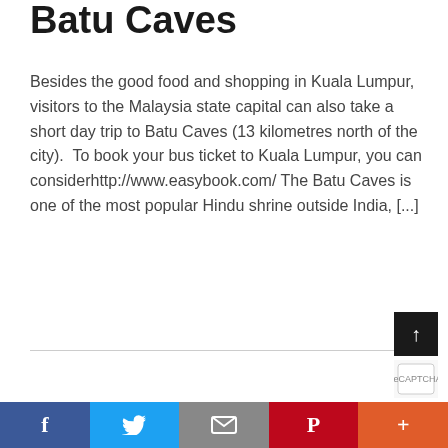Batu Caves
Besides the good food and shopping in Kuala Lumpur, visitors to the Malaysia state capital can also take a short day trip to Batu Caves (13 kilometres north of the city).  To book your bus ticket to Kuala Lumpur, you can considerhttp://www.easybook.com/ The Batu Caves is one of the most popular Hindu shrine outside India, [...]
[Figure (other): Scroll-to-top button (dark background, up arrow) and reCAPTCHA icon in the bottom-right area]
f  Twitter (bird)  Mail  P  +  (social share bar: Facebook, Twitter, Email, Pinterest, More)